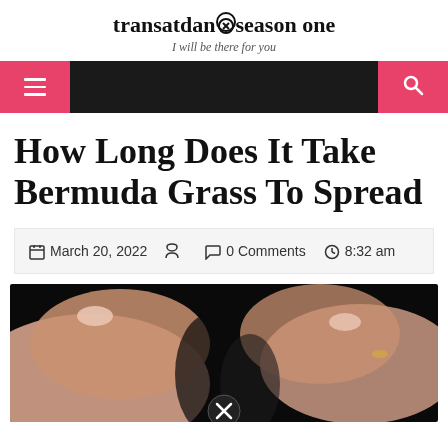transatdanxseason one
I will be there for you
[Figure (screenshot): Navigation bar with pink hamburger menu button on left, dark background, pink search button on right]
How Long Does It Take Bermuda Grass To Spread
March 20, 2022   0 Comments   8:32 am
[Figure (photo): Close-up photo of hands with manicured nails against dark background, with a close/X button badge overlay at the bottom center]